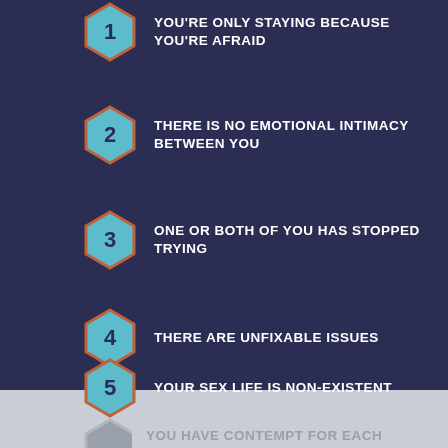1. YOU'RE ONLY STAYING BECAUSE YOU'RE AFRAID
2. THERE IS NO EMOTIONAL INTIMACY BETWEEN YOU
3. ONE OR BOTH OF YOU HAS STOPPED TRYING
4. THERE ARE UNFIXABLE ISSUES
5. YOUR SEX LIFE IS NON-EXISTENT
6. YOU HAVE CONTEMPT FOR EACH OTHER (partially visible)